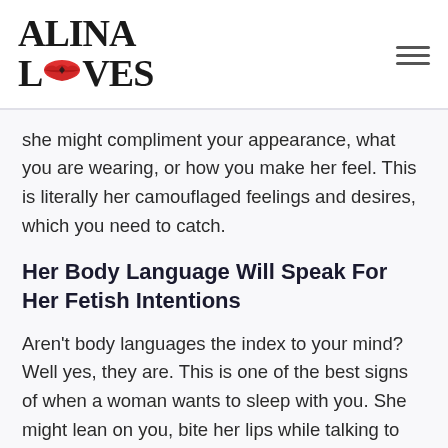ALINA LOVES
she might compliment your appearance, what you are wearing, or how you make her feel. This is literally her camouflaged feelings and desires, which you need to catch.
Her Body Language Will Speak For Her Fetish Intentions
Aren't body languages the index to your mind? Well yes, they are. This is one of the best signs of when a woman wants to sleep with you. She might lean on you, bite her lips while talking to you, and play with her hair or ears. All these are signals to the fact that your appearance is making her tensed and helplessly weak.